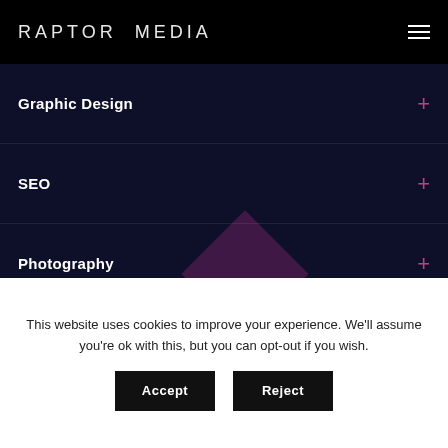RAPTOR MEDIA
Graphic Design
SEO
Photography
[Figure (illustration): Dark navy background with a purple/magenta rotated diamond shape and a partial circle outline, forming a decorative background graphic for the Raptor Media services menu.]
This website uses cookies to improve your experience. We'll assume you're ok with this, but you can opt-out if you wish.
Accept  Reject